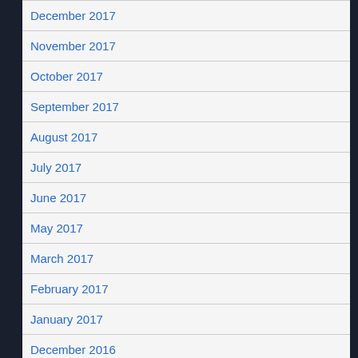December 2017
November 2017
October 2017
September 2017
August 2017
July 2017
June 2017
May 2017
March 2017
February 2017
January 2017
December 2016
November 2016
October 2016
September 2016